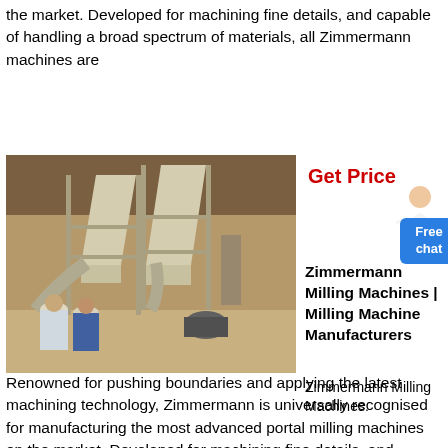the market. Developed for machining fine details, and capable of handling a broad spectrum of materials, all Zimmermann machines are
[Figure (photo): Industrial milling machines with large conical hoppers on metal frames inside a warehouse, with workers standing nearby]
Get Price
Free chat
Zimmermann Milling Machines | Milling Machine Manufacturers
Zimmermann Milling Machines.
Renowned for pushing boundaries and applying the latest machining technology, Zimmermann is universally recognised for manufacturing the most advanced portal milling machines on the market. Developed for machining fine details, and